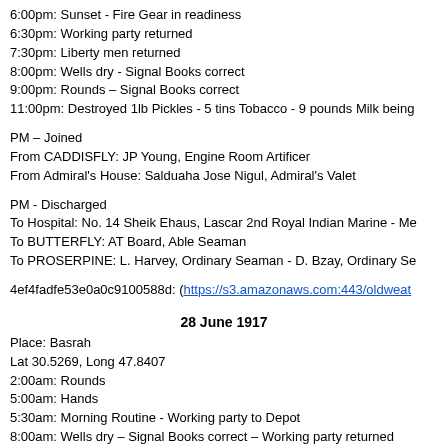6:00pm: Sunset - Fire Gear in readiness
6:30pm: Working party returned
7:30pm: Liberty men returned
8:00pm: Wells dry - Signal Books correct
9:00pm: Rounds – Signal Books correct
11:00pm: Destroyed 1lb Pickles - 5 tins Tobacco - 9 pounds Milk being
PM – Joined
From CADDISFLY: JP Young, Engine Room Artificer
From Admiral's House: Salduaha Jose Nigul, Admiral's Valet
PM - Discharged
To Hospital: No. 14 Sheik Ehaus, Lascar 2nd Royal Indian Marine - Me
To BUTTERFLY: AT Board, Able Seaman
To PROSERPINE: L. Harvey, Ordinary Seaman - D. Bzay, Ordinary Se
4ef4fadfe53e0a0c9100588d: (https://s3.amazonaws.com:443/oldweat
28 June 1917
Place: Basrah
Lat 30.5269, Long 47.8407
2:00am: Rounds
5:00am: Hands
5:30am: Morning Routine - Working party to Depot
8:00am: Wells dry – Signal Books correct – Working party returned
9:00am: Working party to Depot
9:10am: Divisions
10:00am: Hands employed refilling runners on Main Deck, & rigging g CADDISFLY
12:00pm: Signal Books correct – Working party returned